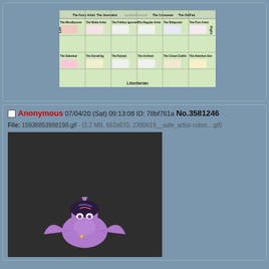[Figure (illustration): Alignment chart grid showing various fandom/internet archetypes arranged in a political compass grid (Left/Right, Libertarian axes). The chart has 6 columns and 4 rows of character types with small illustrations and descriptions. Caption reads 'Libertarian' at bottom.]
Anonymous 07/04/20 (Sat) 09:13:08 ID: 78bf761a No.3581246
File: 15938853988198.gif - (2.2 MB, 662x670, 2390619__safe_artist-colon....gif)
[Figure (illustration): Animated GIF frame showing a purple cartoon pony (Twilight Sparkle from My Little Pony) with wings spread, mouth open wide, on a dark grey background.]